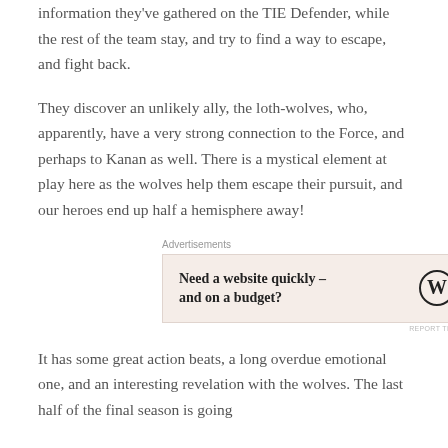information they've gathered on the TIE Defender, while the rest of the team stay, and try to find a way to escape, and fight back.
They discover an unlikely ally, the loth-wolves, who, apparently, have a very strong connection to the Force, and perhaps to Kanan as well. There is a mystical element at play here as the wolves help them escape their pursuit, and our heroes end up half a hemisphere away!
[Figure (other): Advertisement box with text 'Need a website quickly – and on a budget?' and WordPress logo on pink/beige background, labeled 'Advertisements' above and 'REPORT THIS AD' below.]
It has some great action beats, a long overdue emotional one, and an interesting revelation with the wolves. The last half of the final season is going